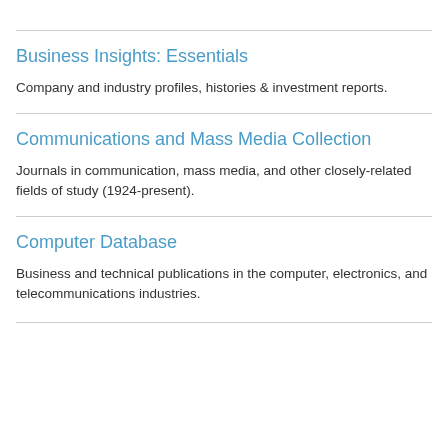Business Insights: Essentials
Company and industry profiles, histories & investment reports.
Communications and Mass Media Collection
Journals in communication, mass media, and other closely-related fields of study (1924-present).
Computer Database
Business and technical publications in the computer, electronics, and telecommunications industries.